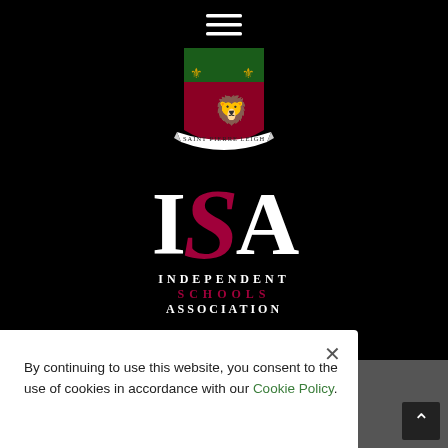[Figure (logo): Saint Pierre Leigh school crest/shield logo with black background, red and green shield, black lion, gold fleur-de-lis, white banner reading SAINT PIERRE LEIGH, and a hamburger menu icon overlay]
[Figure (logo): ISA - Independent Schools Association logo. Large serif letters I, stylized S in dark red/crimson with swirl, and A in white. Below: INDEPENDENT in white, SCHOOLS in red/crimson spaced letters, ASSOCIATION in white, all on black background.]
By continuing to use this website, you consent to the use of cookies in accordance with our Cookie Policy.